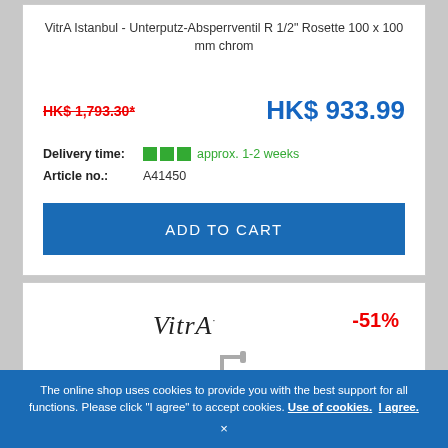VitrA Istanbul - Unterputz-Absperrventil R 1/2" Rosette 100 x 100 mm chrom
HK$ 1,793.30*
HK$ 933.99
Delivery time: approx. 1-2 weeks
Article no.: A41450
ADD TO CART
[Figure (logo): VitrA brand logo in italic serif font]
-51%
[Figure (photo): Dark sink product image with chrome faucet]
The online shop uses cookies to provide you with the best support for all functions. Please click "I agree" to accept cookies. Use of cookies. I agree.